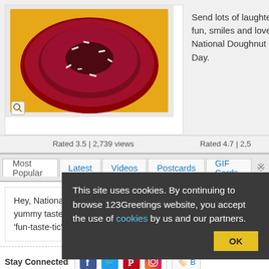[Figure (photo): Red glazed chocolate doughnut with orange border]
Send lots of laughter, fun, smiles and love on National Doughnut Day.
[Figure (photo): Stack of chocolate sprinkle doughnuts]
Rated 3.5 | 2,739 views
Rated 4.7 | 2,5...
Most Popular
Latest
Videos
Postcards
GIF Cards
Hey, National Doughnut Day is here! So savor the sweet and yummy taste of ecards from our site to wish your loved ones 'fun-taste-tic' days ahead.
Stay Connected
Site Ma...
This site uses cookies. By continuing to browse 123Greetings website, you accept the use of cookies by us and our partners.
OK